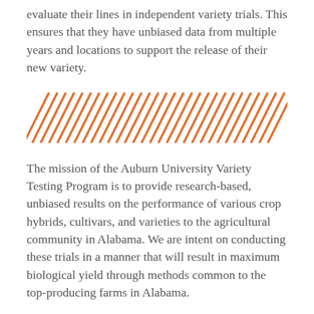evaluate their lines in independent variety trials. This ensures that they have unbiased data from multiple years and locations to support the release of their new variety.
[Figure (illustration): Decorative divider made of repeating diagonal orange slash marks spanning the full width of the page.]
The mission of the Auburn University Variety Testing Program is to provide research-based, unbiased results on the performance of various crop hybrids, cultivars, and varieties to the agricultural community in Alabama. We are intent on conducting these trials in a manner that will result in maximum biological yield through methods common to the top-producing farms in Alabama.
We are committed to providing this information in a timely manner for its use during the decision-making